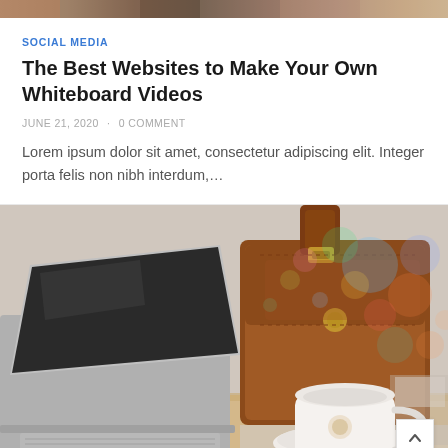[Figure (photo): Decorative banner photo strip at the top of the page, showing a colorful blurred scene.]
SOCIAL MEDIA
The Best Websites to Make Your Own Whiteboard Videos
JUNE 21, 2020 · 0 COMMENT
Lorem ipsum dolor sit amet, consectetur adipiscing elit. Integer porta felis non nibh interdum,…
[Figure (photo): Photograph of a laptop, brown leather bag, and white coffee cup with saucer on a wooden desk, with bokeh lights in the background.]